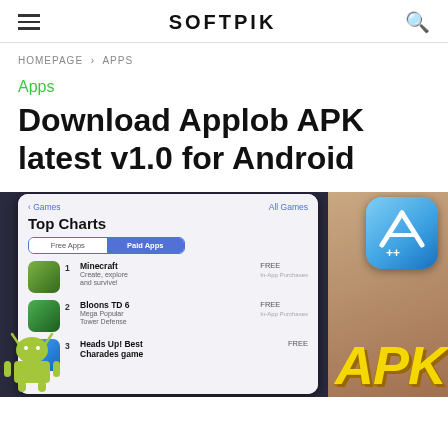SOFTPIK
HOMEPAGE > APPS
Apps
Download Applob APK latest v1.0 for Android
[Figure (screenshot): Screenshot of an iPhone showing App Store Top Charts with Minecraft, Bloons TD 6, Heads Up Best Charades game listed as top paid apps, alongside an App Store++ icon and large yellow APK text with an Android robot mascot in the lower left.]